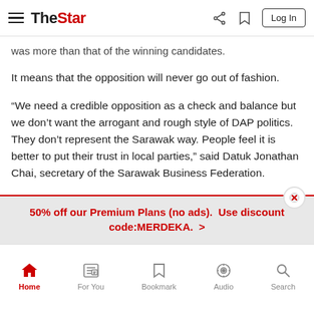The Star — navigation header with hamburger menu, logo, share, bookmark, and Log In button
was more than that of the winning candidates.
It means that the opposition will never go out of fashion.
“We need a credible opposition as a check and balance but we don’t want the arrogant and rough style of DAP politics. They don’t represent the Sarawak way. People feel it is better to put their trust in local parties,” said Datuk Jonathan Chai, secretary of the Sarawak Business Federation.
Pakatan Harapan parties were also punished for failing to deliver on the outlandish promises made in the 2018 general election.
50% off our Premium Plans (no ads).  Use discount code:MERDEKA.  >
Home | For You | Bookmark | Audio | Search